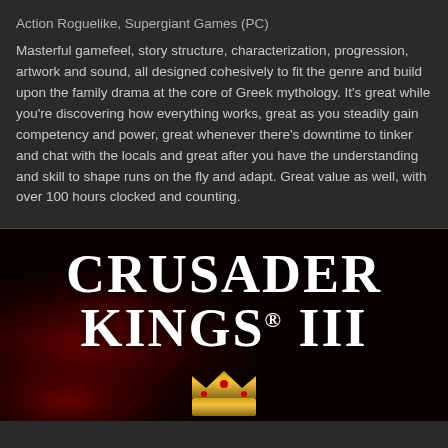Action Roguelike, Supergiant Games (PC)
Masterful gamefeel, story structure, characterization, progression, artwork and sound, all designed cohesively to fit the genre and build upon the family drama at the core of Greek mythology. It's great while you're discovering how everything works, great as you steadily gain competency and power, great whenever there's downtime to tinker and chat with the locals and great after you have the understanding and skill to shape runs on the fly and adapt. Great value as well, with over 100 hours clocked and counting.
[Figure (other): Crusader Kings III game logo on a dark background with red smoke/fire visual effects and a crown at the bottom center. White bold medieval-style text reads 'CRUSADER KINGS III'.]